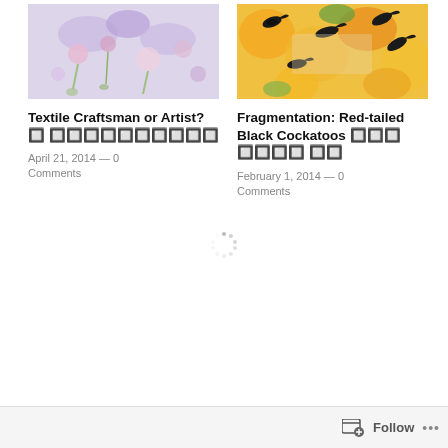[Figure (photo): Textile artwork with floral and ribbon motifs in pastel purples and pinks]
[Figure (photo): Painting of red-tailed black cockatoos on orange and yellow floral background on paper]
Textile Craftsman or Artist? 🔲 🔲🔲🔲🔲🔲🔲🔲🔲🔲🔲
Fragmentation: Red-tailed Black Cockatoos 🔲🔲🔲 🔲🔲🔲🔲 🔲🔲
April 21, 2014 — 0 Comments
February 1, 2014 — 0 Comments
[Figure (other): Loading spinner icon]
Follow ...